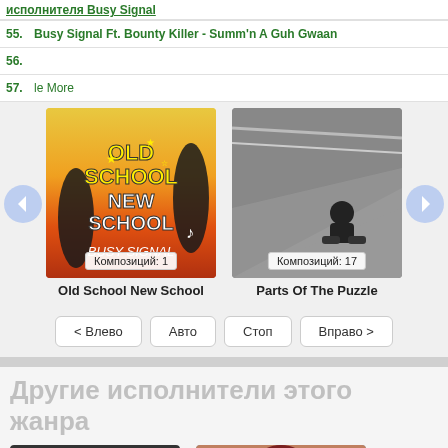исполнителя Busy Signal
55. Busy Signal Ft. Bounty Killer - Summ'n A Guh Gwaan
56.
57. ... le More
58.
59.
[Figure (photo): Album cover for Old School New School by Busy Signal]
Композиций: 1
Old School New School
[Figure (photo): Album cover for Parts Of The Puzzle - person sitting on concrete surface]
Композиций: 17
Parts Of The Puzzle
< Влево    Авто    Стоп    Вправо >
Другие исполнители этого жанра
[Figure (photo): Artist photo left - dark image]
[Figure (photo): Artist photo right - person with red hair]